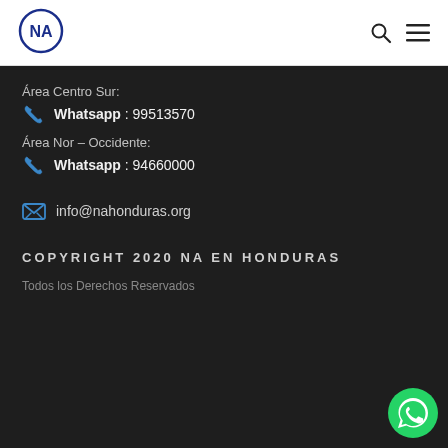[Figure (logo): NA (Narcotics Anonymous) circular logo in dark blue with 'NA' letters inside]
Área Centro Sur:
Whatsapp : 99513570
Área Nor – Occidente:
Whatsapp : 94660000
info@nahonduras.org
COPYRIGHT 2020 NA EN HONDURAS
Todos los Derechos Reservados